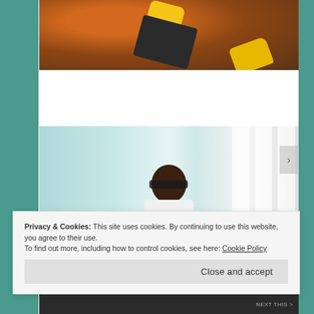[Figure (photo): Close-up photo showing hands with yellow work gloves and dark gear against a reddish-brown background surface]
[Figure (photo): Photo of a person wearing sunglasses and a white shirt, looking down, in front of a light blue/teal and white striped background]
Privacy & Cookies: This site uses cookies. By continuing to use this website, you agree to their use.
To find out more, including how to control cookies, see here: Cookie Policy
Close and accept